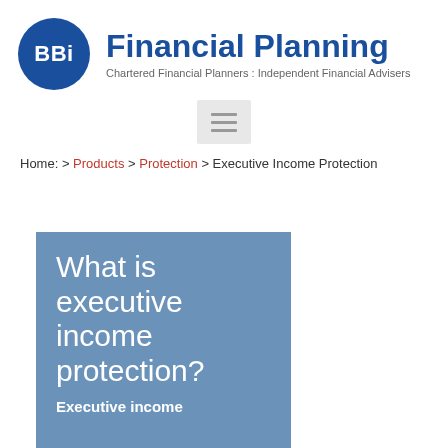BBi Financial Planning
Chartered Financial Planners : Independent Financial Advisers
Home: > Products > Protection > Executive Income Protection
[Figure (other): Blue box with large white text reading 'What is executive income protection?' and subtitle 'Executive income']